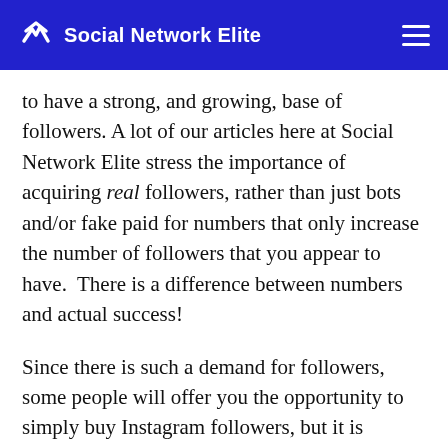Social Network Elite
to have a strong, and growing, base of followers. A lot of our articles here at Social Network Elite stress the importance of acquiring real followers, rather than just bots and/or fake paid for numbers that only increase the number of followers that you appear to have.  There is a difference between numbers and actual success!
Since there is such a demand for followers, some people will offer you the opportunity to simply buy Instagram followers, but it is strongly suggested that you avoid paying these profiles